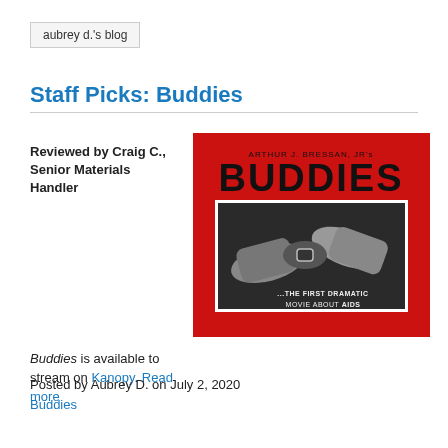aubrey d.'s blog
Staff Picks: Buddies
Reviewed by Craig C., Senior Materials Handler
[Figure (photo): Movie poster for 'Buddies' by Arthur J. Bressan Jr. Red background with large bold text 'BUDDIES' and a black and white image of two hands clasping, with text '...THE FIRST DRAMATIC MOVIE ABOUT AIDS']
Buddies is available to stream on Kanopy. Read more
Posted by Aubrey D. on July 2, 2020
Buddies